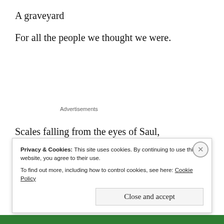A graveyard
For all the people we thought we were.
Advertisements
Scales falling from the eyes of Saul,
A new name, a new life, and here we have
Privacy & Cookies: This site uses cookies. By continuing to use this website, you agree to their use.
To find out more, including how to control cookies, see here: Cookie Policy
Close and accept